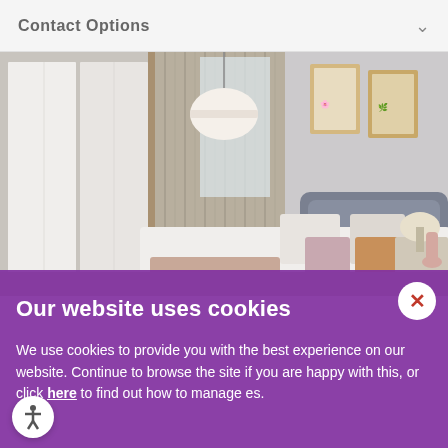Contact Options
[Figure (photo): Interior bedroom photo showing a stylish bedroom with a pendant light, built-in wardrobe with sliding doors, neutral curtains, a bed with decorative pillows, and framed artwork on the wall.]
Our website uses cookies
We use cookies to provide you with the best experience on our website. Continue to browse the site if you are happy with this, or click here to find out how to manage es.